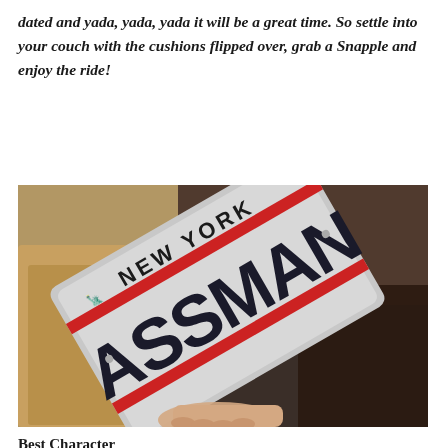dated and yada, yada, yada it will be a great time. So settle into your couch with the cushions flipped over, grab a Snapple and enjoy the ride!
[Figure (photo): A New York license plate reading 'ASSMAN' being held up. The plate has the standard New York state design with red stripes and the state name 'NEW YORK' at the top.]
Best Character
JT: Throughout the whole episode I was debating this between George and Kramer. Both were superb, especially Kramer slowly morphing into The Assman. Then Frank